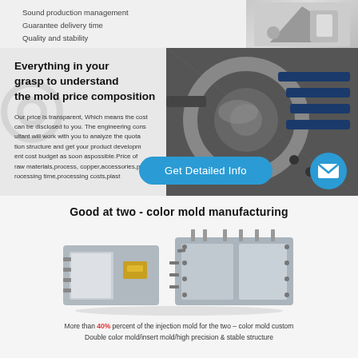Sound production management
Guarantee delivery time
Quality and stability
[Figure (photo): Close-up photo of CNC machining equipment / mold manufacturing machinery, metallic silver/blue tones]
Everything in your grasp to understand the mold price composition
Our price is transparent, Which means the cost can be disclosed to you. The engineering consultant will work with you to analyze the quotation structure and get your product development cost budget as soon aspossible.Price of raw materials,process, copper,accessories,processing time,processing costs,plast
Get Detailed Info
Good at two - color mold manufacturing
[Figure (photo): Photo of a two-color injection mold tool assembly, metallic silver with gold/yellow inserts]
More than 40% percent of the injection mold for the two – color mold custom Double color mold/insert mold/high precision & stable structure